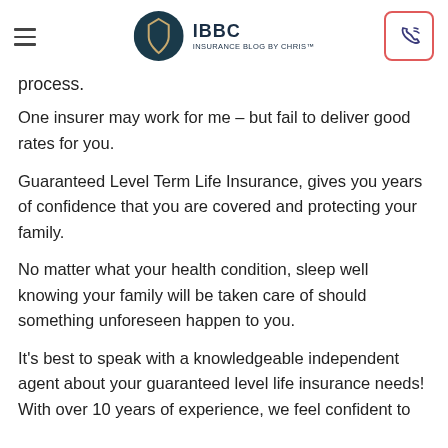IBBC INSURANCE BLOG BY CHRIS™
process.
One insurer may work for me – but fail to deliver good rates for you.
Guaranteed Level Term Life Insurance, gives you years of confidence that you are covered and protecting your family.
No matter what your health condition, sleep well knowing your family will be taken care of should something unforeseen happen to you.
It's best to speak with a knowledgeable independent agent about your guaranteed level life insurance needs! With over 10 years of experience, we feel confident to